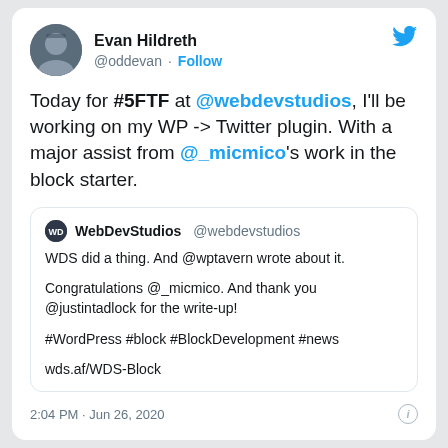Evan Hildreth @oddevan · Follow
Today for #5FTF at @webdevstudios, I'll be working on my WP -> Twitter plugin. With a major assist from @_micmico's work in the block starter.
WebDevStudios @webdevstudios
WDS did a thing. And @wptavern wrote about it.

Congratulations @_micmico. And thank you @justintadlock for the write-up!

#WordPress #block #BlockDevelopment #news

wds.af/WDS-Block
2:04 PM · Jun 26, 2020